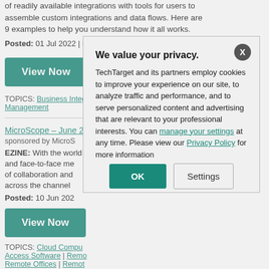of readily available integrations with tools for users to assemble custom integrations and data flows. Here are 9 examples to help you understand how it all works.
Posted: 01 Jul 2022 | Published: 01 Jul 2022
View Now
TOPICS: Business Integration | Cloud Computing | Cloud Management
MicroScope – June 20...
sponsored by MicroS...
EZINE: With the world... and face-to-face me... of collaboration and... across the channel...
Posted: 10 Jun 202...
View Now
TOPICS: Cloud Compu... | Access Software | Remo... | Remote Offices | Remot...
We value your privacy. TechTarget and its partners employ cookies to improve your experience on our site, to analyze traffic and performance, and to serve personalized content and advertising that are relevant to your professional interests. You can manage your settings at any time. Please view our Privacy Policy for more information
OK
Settings